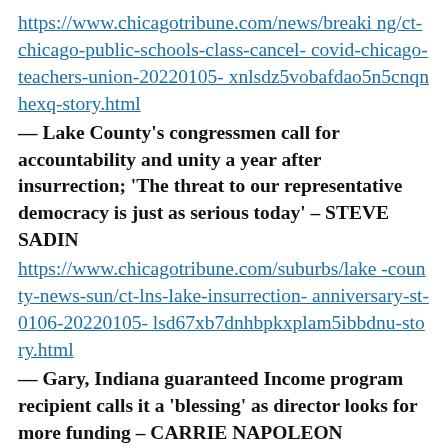https://www.chicagotribune.com/news/breaking/ct-chicago-public-schools-class-cancel-covid-chicago-teachers-union-20220105-xnlsdz5vobafdao5n5cnqnhexq-story.html
— Lake County's congressmen call for accountability and unity a year after insurrection; 'The threat to our representative democracy is just as serious today' – STEVE SADIN
https://www.chicagotribune.com/suburbs/lake-county-news-sun/ct-lns-lake-insurrection-anniversary-st-0106-20220105-lsd67xb7dnhbpkxplam5ibbdnu-story.html
— Gary, Indiana guaranteed Income program recipient calls it a 'blessing' as director looks for more funding – CARRIE NAPOLEON
https://www.chicagotribune.com/suburbs/nos...